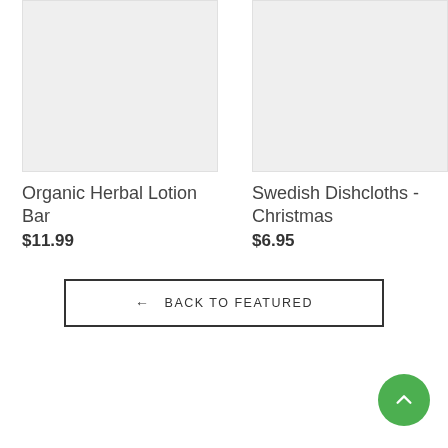[Figure (photo): Product image placeholder for Organic Herbal Lotion Bar, light gray background]
Organic Herbal Lotion Bar
$11.99
[Figure (photo): Product image placeholder for Swedish Dishcloths - Christmas, light gray background]
Swedish Dishcloths - Christmas
$6.95
← BACK TO FEATURED